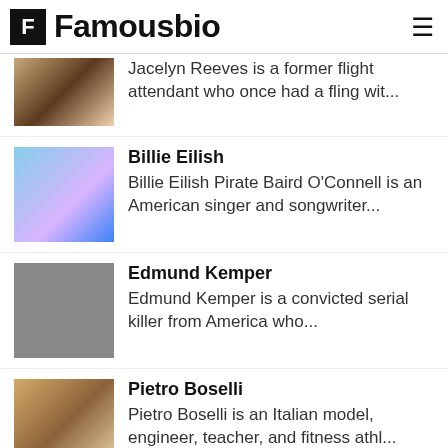Famousbio
Jacelyn Reeves is a former flight attendant who once had a fling wit...
Billie Eilish
Billie Eilish Pirate Baird O'Connell is an American singer and songwriter...
Edmund Kemper
Edmund Kemper is a convicted serial killer from America who...
Pietro Boselli
Pietro Boselli is an Italian model, engineer, teacher, and fitness athl...
Park Seo-joon